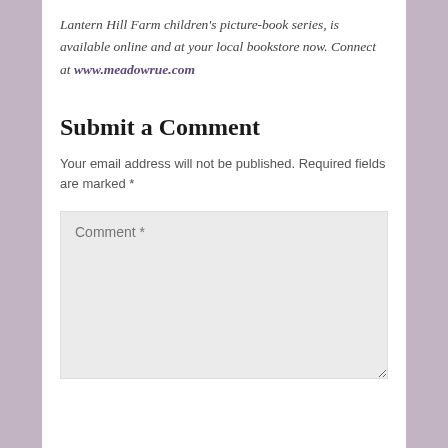Lantern Hill Farm children's picture-book series, is available online and at your local bookstore now. Connect at www.meadowrue.com
Submit a Comment
Your email address will not be published. Required fields are marked *
Comment *